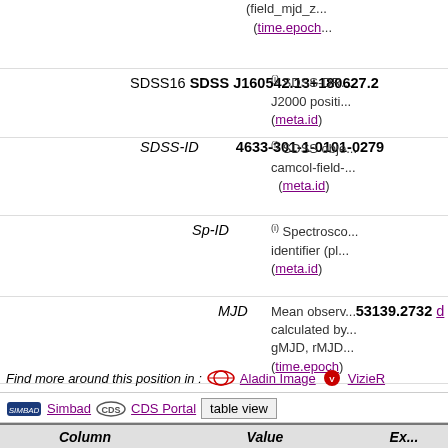(field_mjd_z... (time.epoch...)
SDSS16 SDSS J160542.13+180627.2 | (i) SDSS-DR... J2000 positi... (meta.id)
SDSS-ID | 4633-301-1-0101-0279 | (i) SDSS obje... camcol-field-... (meta.id)
Sp-ID | | (i) Spectrosco... identifier (pl... (meta.id)
MJD | 53139.2732 d | Mean observ... calculated by... gMJD, rMJD... (time.epoch)
Find more around this position in : Aladin Image VizieR Simbad CDS Portal table view
| Column | Value | E... |
| --- | --- | --- |
| _r | 0.013 arcsec | Distance fro... (241.42556... (pos.angDist... |
| RAJ2000 | 16 05 42.13632 "h:m:s" | Right ascens... |